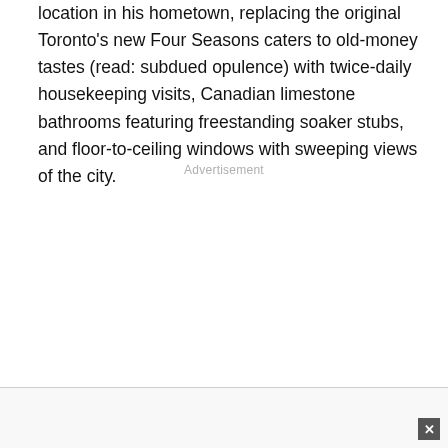location in his hometown, replacing the original Toronto's new Four Seasons caters to old-money tastes (read: subdued opulence) with twice-daily housekeeping visits, Canadian limestone bathrooms featuring freestanding soaker stubs, and floor-to-ceiling windows with sweeping views of the city.
Advertisement